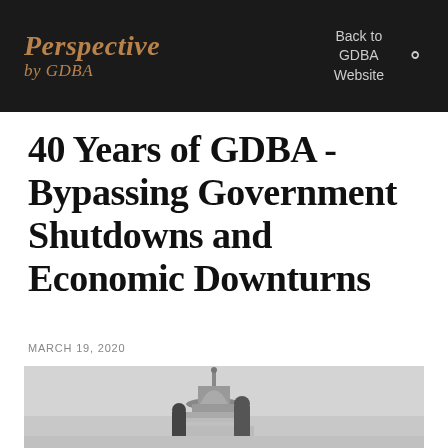Perspective by GDBA | Back to GDBA Website
40 Years of GDBA - Bypassing Government Shutdowns and Economic Downturns
MARCH 19, 2020
[Figure (photo): Black and white photograph of two people in front of the United States Capitol building dome]